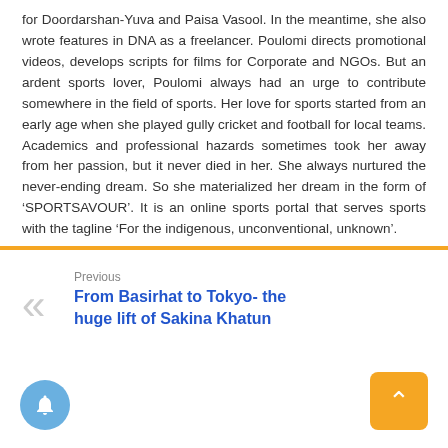for Doordarshan-Yuva and Paisa Vasool. In the meantime, she also wrote features in DNA as a freelancer. Poulomi directs promotional videos, develops scripts for films for Corporate and NGOs. But an ardent sports lover, Poulomi always had an urge to contribute somewhere in the field of sports. Her love for sports started from an early age when she played gully cricket and football for local teams. Academics and professional hazards sometimes took her away from her passion, but it never died in her. She always nurtured the never-ending dream. So she materialized her dream in the form of 'SPORTSAVOUR'. It is an online sports portal that serves sports with the tagline 'For the indigenous, unconventional, unknown'.
Previous
From Basirhat to Tokyo- the huge lift of Sakina Khatun